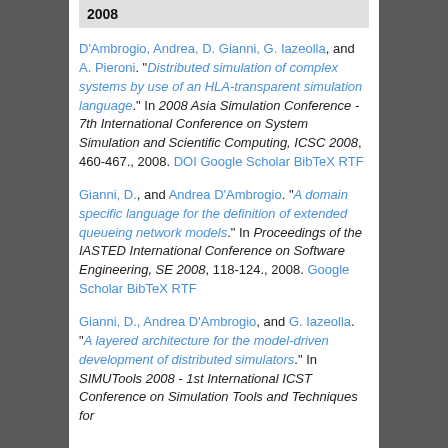2008
D'Ambrogio, Andrea, D. Gianni, G. Iazeolla, and A. Pieroni. "Distributed simulation of complex systems by use of an HLA-transparent simulation language." In 2008 Asia Simulation Conference - 7th International Conference on System Simulation and Scientific Computing, ICSC 2008, 460-467., 2008. DOI Google Scholar BibTeX RTF
Gianni, D., and Andrea D'Ambrogio. "A domain specific language for the definition of extended queueing network models." In Proceedings of the IASTED International Conference on Software Engineering, SE 2008, 118-124., 2008. Google Scholar BibTeX RTF
Gianni, D., Andrea D'Ambrogio, and G. Iazeolla. "A layered architecture for the model-driven development of distributed simulators." In SIMUTools 2008 - 1st International ICST Conference on Simulation Tools and Techniques for